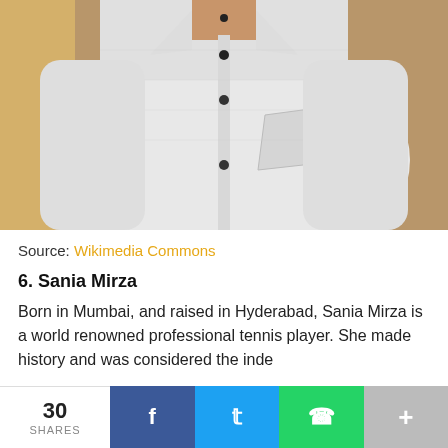[Figure (photo): A person wearing a white button-up shirt with small dark buttons, photographed from the neck down to the waist area. Another person in a yellow outfit is partially visible on the left side.]
Source: Wikimedia Commons
6. Sania Mirza
Born in Mumbai, and raised in Hyderabad, Sania Mirza is a world renowned professional tennis player. She made history and was considered the inde…